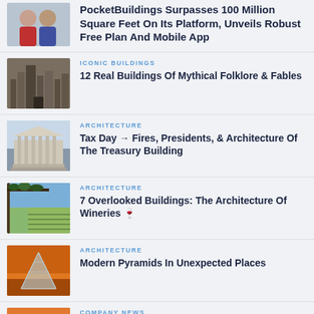[Figure (photo): Two people smiling, one in red hoodie, one in blue jacket]
PocketBuildings Surpasses 100 Million Square Feet On Its Platform, Unveils Robust Free Plan And Mobile App
[Figure (photo): Old city skyline with tall buildings in sepia tone]
ICONIC BUILDINGS
12 Real Buildings Of Mythical Folklore & Fables
[Figure (photo): Classical government building with columns, Treasury Building]
ARCHITECTURE
Tax Day → Fires, Presidents, & Architecture Of The Treasury Building
[Figure (photo): Vineyard pergola with view of countryside]
ARCHITECTURE
7 Overlooked Buildings: The Architecture Of Wineries 🍷
[Figure (photo): Glass pyramid structure at sunset, Louvre-style]
ARCHITECTURE
Modern Pyramids In Unexpected Places
[Figure (photo): Person silhouette against sunset skyline]
COMPANY NEWS